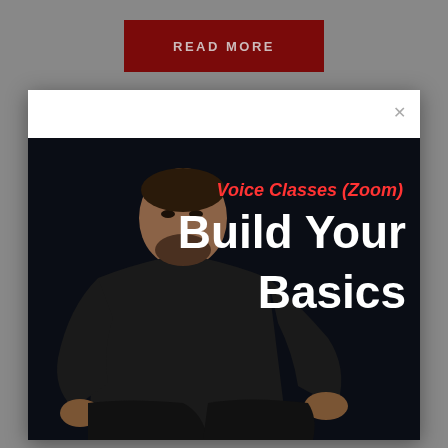READ MORE
[Figure (photo): A man in a black shirt seated against a dark background, with text overlay reading 'Voice Classes (Zoom) Build Your Basics']